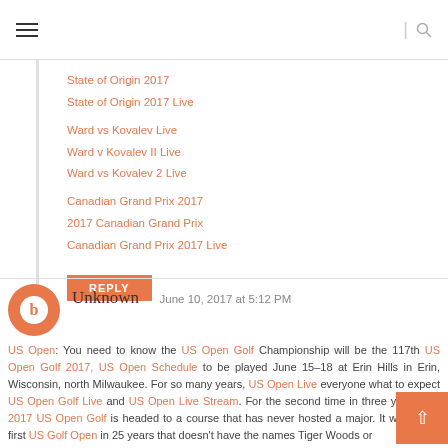Navigation header with hamburger menu and search icon
State of Origin 2017
State of Origin 2017 Live
Ward vs Kovalev Live
Ward v Kovalev II Live
Ward vs Kovalev 2 Live
Canadian Grand Prix 2017
2017 Canadian Grand Prix
Canadian Grand Prix 2017 Live
REPLY
Unknown   June 10, 2017 at 5:12 PM
US Open: You need to know the US Open Golf Championship will be the 117th US Open Golf 2017, US Open Schedule to be played June 15–18 at Erin Hills in Erin, Wisconsin, north Milwaukee. For so many years, US Open Live everyone what to expect US Open Golf Live and US Open Live Stream. For the second time in three years, the 2017 US Open Golf is headed to a course that has never hosted a major. It will be the first US Golf Open in 25 years that doesn't have the names Tiger Woods or